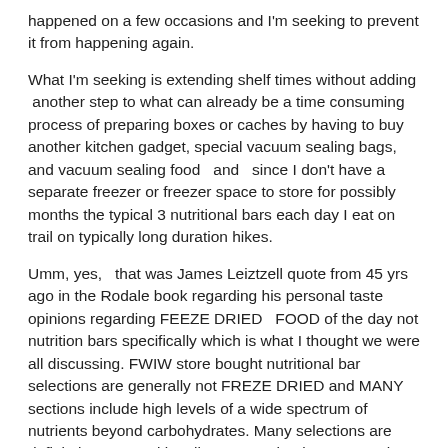happened on a few occasions and I'm seeking to prevent it from happening again.
What I'm seeking is extending shelf times without adding another step to what can already be a time consuming process of preparing boxes or caches by having to buy another kitchen gadget, special vacuum sealing bags, and vacuum sealing food  and  since I don't have a separate freezer or freezer space to store for possibly months the typical 3 nutritional bars each day I eat on trail on typically long duration hikes.
Umm, yes,  that was James Leiztzell quote from 45 yrs ago in the Rodale book regarding his personal taste opinions regarding FEEZE DRIED  FOOD of the day not nutrition bars specifically which is what I thought we were all discussing. FWIW store bought nutritional bar selections are generally not FREZE DRIED and MANY sections include high levels of a wide spectrum of nutrients beyond carbohydrates. Many selections are  definitely NOT nutritionally vacant! That is a personal misperception.  For example, there is a whole category of nutritional bars that are raw or cold pressed or